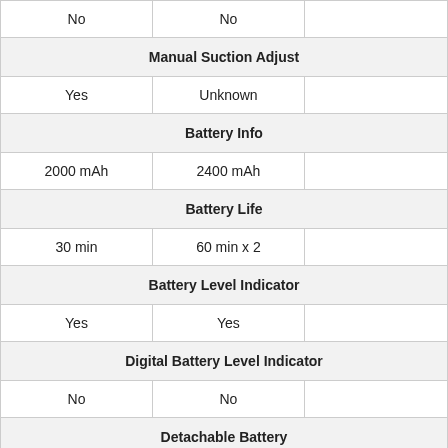| No | No |  |
| Manual Suction Adjust |  |  |
| Yes | Unknown |  |
| Battery Info |  |  |
| 2000 mAh | 2400 mAh |  |
| Battery Life |  |  |
| 30 min | 60 min x 2 |  |
| Battery Level Indicator |  |  |
| Yes | Yes |  |
| Digital Battery Level Indicator |  |  |
| No | No |  |
| Detachable Battery |  |  |
| Yes | Yes |  |